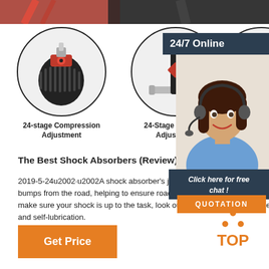[Figure (photo): Top strip showing red cable/shock absorber parts]
[Figure (photo): Circle image of 24-stage compression adjustment knob (red/black)]
24-stage Compression Adjustment
[Figure (photo): Circle image of 24-stage rebound adjustment (black T-bar)]
24-Stage Rebound Adjustment
[Figure (photo): Partial circle image of third adjustment feature]
Al...
[Figure (photo): 24/7 Online support representative - woman with headset smiling]
24/7 Online
Click here for free chat !
QUOTATION
The Best Shock Absorbers (Review) In 2020
2019-5-24u2002·u2002A shock absorber's job is to control vibrations and bumps from the road, helping to ensure road contact, and a smooth ride. To make sure your shock is up to the task, look out for low friction all weather fluid, and self-lubrication.
[Figure (logo): TOP logo with orange dots arranged in triangle above orange TOP text]
Get Price